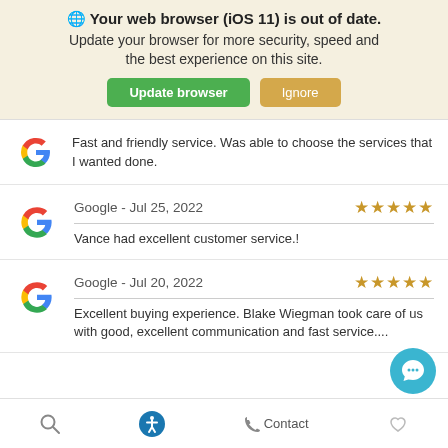🌐 Your web browser (iOS 11) is out of date. Update your browser for more security, speed and the best experience on this site. [Update browser] [Ignore]
Fast and friendly service. Was able to choose the services that I wanted done.
Google - Jul 25, 2022 ★★★★★
Vance had excellent customer service.!
Google - Jul 20, 2022 ★★★★★
Excellent buying experience. Blake Wiegman took care of us with good, excellent communication and fast service....
🔍  ♿  📞 Contact  ♡